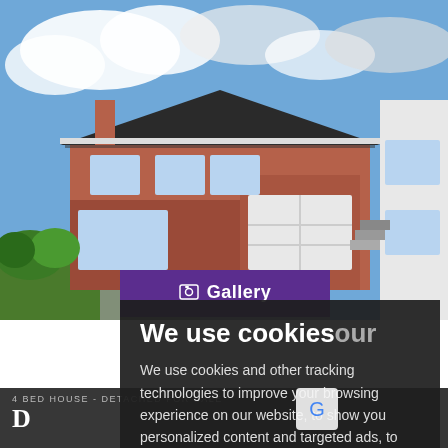[Figure (photo): Exterior photo of a detached brick house with double garage, blue sky with clouds, green lawn and garden in foreground]
Gallery
We use cookies
We use cookies and other tracking technologies to improve your browsing experience on our website, to show you personalized content and targeted ads, to analyze our website traffic, and to understand where our visitors are coming
4 BED HOUSE - DETACHED FOR SALE
D